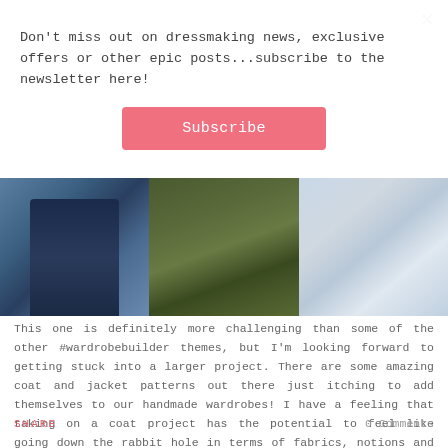×
Don't miss out on dressmaking news, exclusive offers or other epic posts...subscribe to the newsletter here!
Subscribe
[Figure (photo): Three fashion photos side by side: person in dark jeans on street, person in olive/khaki jacket, person in light blue skirt]
This one is definitely more challenging than some of the other #wardrobebuilder themes, but I'm looking forward to getting stuck into a larger project. There are some amazing coat and jacket patterns out there just itching to add themselves to our handmade wardrobes! I have a feeling that taking on a coat project has the potential to feel like going down the rabbit hole in terms of fabrics, notions and new techniques....let's see!
SHARE
0 Comments